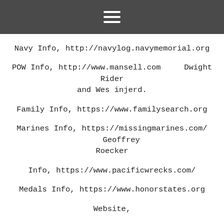≡
Navy Info, http://navylog.navymemorial.org
POW Info, http://www.mansell.com    Dwight Rider and Wes injerd.
Family Info, https://www.familysearch.org
Marines Info, https://missingmarines.com/    Geoffrey Roecker
Info, https://www.pacificwrecks.com/
Medals Info, https://www.honorstates.org
Website,